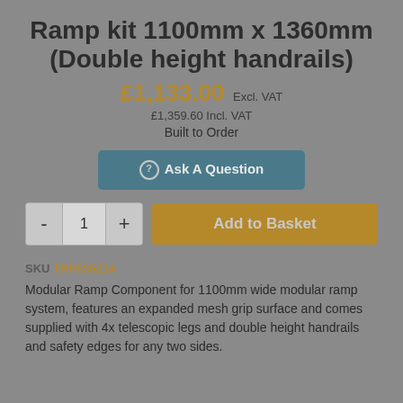Ramp kit 1100mm x 1360mm (Double height handrails)
£1,133.00 Excl. VAT
£1,359.60 Incl. VAT
Built to Order
? Ask A Question
- 1 + Add to Basket
SKU TRP835214
Modular Ramp Component for 1100mm wide modular ramp system, features an expanded mesh grip surface and comes supplied with 4x telescopic legs and double height handrails and safety edges for any two sides.